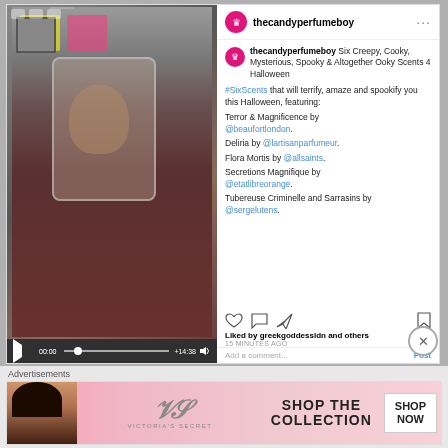[Figure (screenshot): Instagram post by thecandyperfumeboy showing a video/photo of a man holding up a perfume bottle. The right side shows the post text with caption about Six Creepy, Cooky, Mysterious, Spooky & Altogether Ooky Scents 4 Halloween. Lists scents: Terror & Magnificence by @beaufortlondon, Deliria by @lartisanparfumeur, Flora Mortis by @allsaints, Secretions Magnifique by @etatlibreorange, Tubereuse Criminelle and Sarrasins by @sergelutens. Shows likes, timestamp '15 MINUTES AGO', comment box. A close X button is visible at bottom right of the IG post.]
Advertisements
[Figure (photo): Victoria's Secret advertisement banner. Pink background with woman on left, Victoria's Secret logo in center, text 'SHOP THE COLLECTION' and a white button 'SHOP NOW' on the right.]